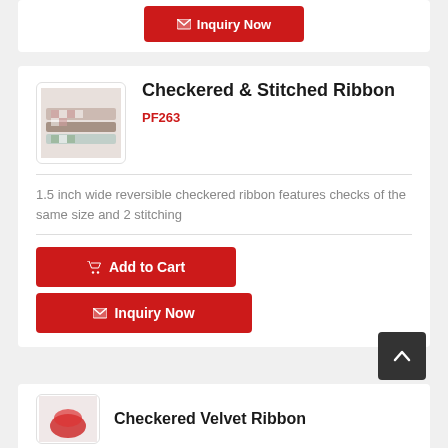[Figure (screenshot): Partial red Inquiry Now button at top of page]
Checkered & Stitched Ribbon
PF263
[Figure (photo): Photo of checkered and stitched ribbon product]
1.5 inch wide reversible checkered ribbon features checks of the same size and 2 stitching
Add to Cart
Inquiry Now
Checkered Velvet Ribbon